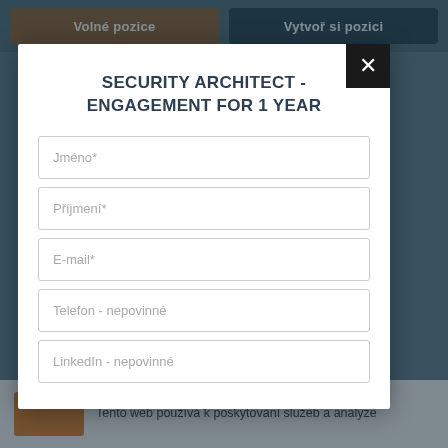Volné pozice | Vytvoř si pozici
SECURITY ARCHITECT - ENGAGEMENT FOR 1 YEAR
Jméno*
Příjmení*
E-mail*
Telefon - nepovinné
LinkedIn - nepovinné
Tento web používá k poskytování služeb a analýze